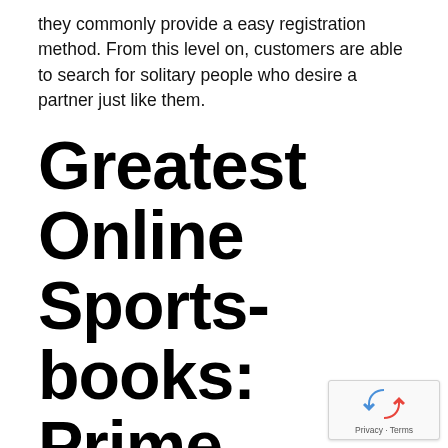they commonly provide a easy registration method. From this level on, customers are able to search for solitary people who desire a partner just like them.
Greatest Online Sportsbooks: Prime several Sports Betting